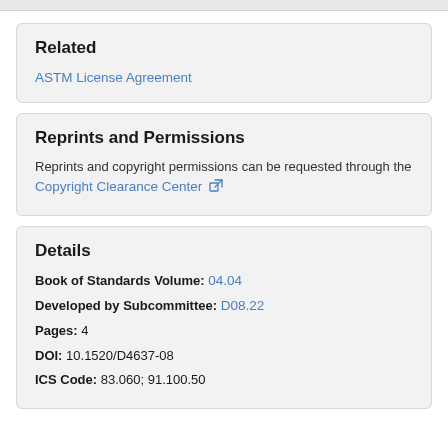Related
ASTM License Agreement
Reprints and Permissions
Reprints and copyright permissions can be requested through the Copyright Clearance Center
Details
Book of Standards Volume: 04.04
Developed by Subcommittee: D08.22
Pages: 4
DOI: 10.1520/D4637-08
ICS Code: 83.060; 91.100.50